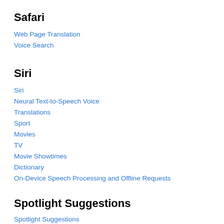Safari
Web Page Translation
Voice Search
Siri
Siri
Neural Text-to-Speech Voice
Translations
Sport
Movies
TV
Movie Showtimes
Dictionary
On-Device Speech Processing and Offline Requests
Spotlight Suggestions
Spotlight Suggestions